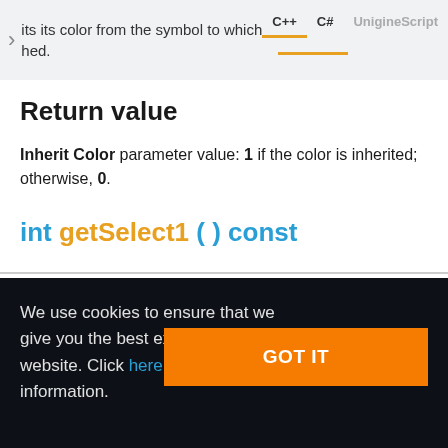its its color from the symbol to which it is hed.
Return value
Inherit Color parameter value: 1 if the color is inherited; otherwise, 0.
int getSelect1 ( ) const
We use cookies to ensure that we give you the best experience on our website. Click here for more information.